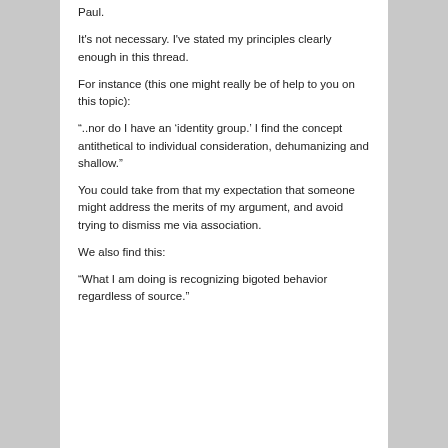Paul.
It's not necessary. I've stated my principles clearly enough in this thread.
For instance (this one might really be of help to you on this topic):
“..nor do I have an ‘identity group.’ I find the concept antithetical to individual consideration, dehumanizing and shallow.”
You could take from that my expectation that someone might address the merits of my argument, and avoid trying to dismiss me via association.
We also find this:
“What I am doing is recognizing bigoted behavior regardless of source.”